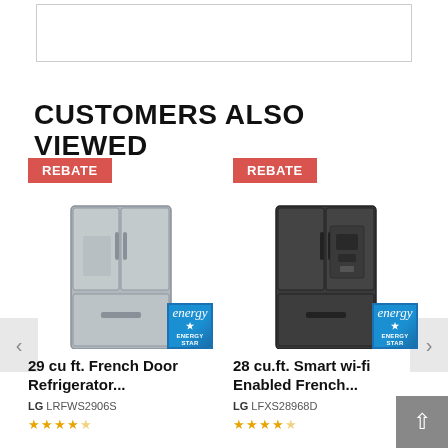[Figure (screenshot): Partial UI element – top box/banner placeholder (appears to be top of a product page, content not visible)]
CUSTOMERS ALSO VIEWED
[Figure (photo): LG LRFWS2906S 29 cu ft. French Door Refrigerator in stainless steel with REBATE badge and ENERGY STAR logo]
[Figure (photo): LG LFXS28968D 28 cu.ft. Smart wi-fi Enabled French Door Refrigerator in black stainless steel with REBATE badge and ENERGY STAR logo]
29 cu ft. French Door Refrigerator...
28 cu.ft. Smart wi-fi Enabled French...
LG LRFWS2906S
LG LFXS28968D